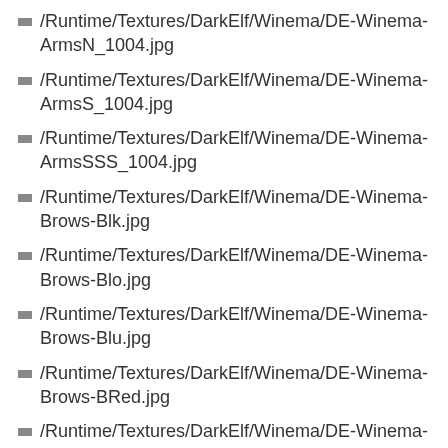/Runtime/Textures/DarkElf/Winema/DE-Winema-ArmsN_1004.jpg
/Runtime/Textures/DarkElf/Winema/DE-Winema-ArmsS_1004.jpg
/Runtime/Textures/DarkElf/Winema/DE-Winema-ArmsSSS_1004.jpg
/Runtime/Textures/DarkElf/Winema/DE-Winema-Brows-Blk.jpg
/Runtime/Textures/DarkElf/Winema/DE-Winema-Brows-Blo.jpg
/Runtime/Textures/DarkElf/Winema/DE-Winema-Brows-Blu.jpg
/Runtime/Textures/DarkElf/Winema/DE-Winema-Brows-BRed.jpg
/Runtime/Textures/DarkElf/Winema/DE-Winema-Brows-Bro.jpg
/Runtime/Textures/DarkElf/Winema/DE-Winema-Brows-Grn.jpg
/Runtime/Textures/DarkElf/Winema/DE-Winema-Brows-Pnk.jpg